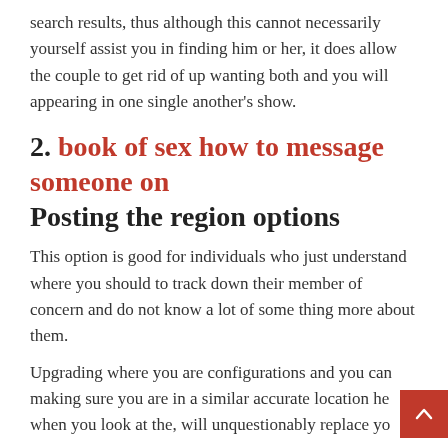search results, thus although this cannot necessarily yourself assist you in finding him or her, it does allow the couple to get rid of up wanting both and you will appearing in one single another's show.
2. book of sex how to message someone on Posting the region options
This option is good for individuals who just understand where you should to track down their member of concern and do not know a lot of some thing more about them.
Upgrading where you are configurations and you can making sure you are in a similar accurate location here when you look at the, will unquestionably replace your